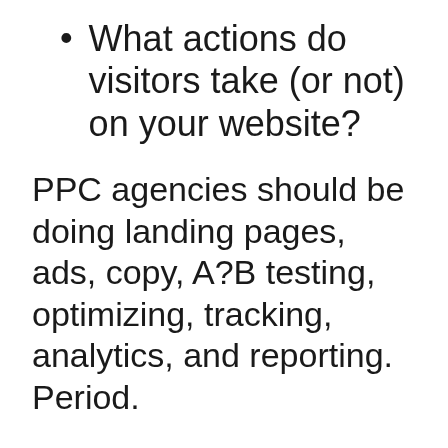What actions do visitors take (or not) on your website?
PPC agencies should be doing landing pages, ads, copy, A?B testing, optimizing, tracking, analytics, and reporting. Period.
Only reporting & No